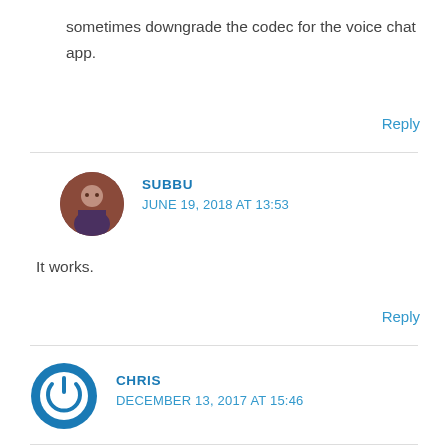sometimes downgrade the codec for the voice chat app.
Reply
SUBBU
JUNE 19, 2018 AT 13:53
It works.
Reply
CHRIS
DECEMBER 13, 2017 AT 15:46